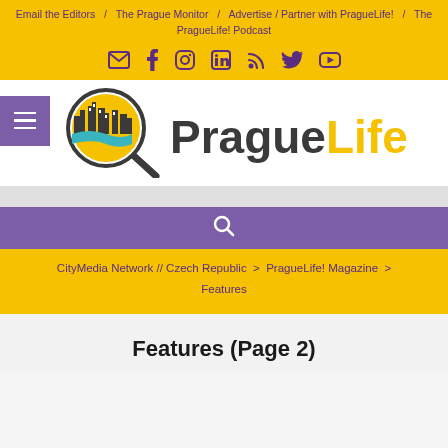Email the Editors / The Prague Monitor / Advertise / Partner with PragueLife! / The PragueLife! Podcast
[Figure (infographic): Social media icon links: email, facebook, instagram, linkedin, rss, twitter, youtube on yellow background]
[Figure (logo): PragueLife! logo: magnifying glass over city skyline, text PragueLife with Prague in dark grey and Life in yellow]
[Figure (infographic): Purple search bar with white magnifying glass icon]
CityMedia Network // Czech Republic > PragueLife! Magazine > Features
Features (Page 2)